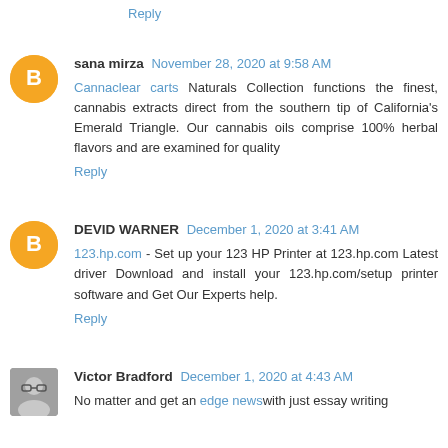Reply
sana mirza  November 28, 2020 at 9:58 AM
Cannaclear carts Naturals Collection functions the finest, cannabis extracts direct from the southern tip of California's Emerald Triangle. Our cannabis oils comprise 100% herbal flavors and are examined for quality
Reply
DEVID WARNER  December 1, 2020 at 3:41 AM
123.hp.com - Set up your 123 HP Printer at 123.hp.com Latest driver Download and install your 123.hp.com/setup printer software and Get Our Experts help.
Reply
Victor Bradford  December 1, 2020 at 4:43 AM
No matter and get an edge newswith just essay writing